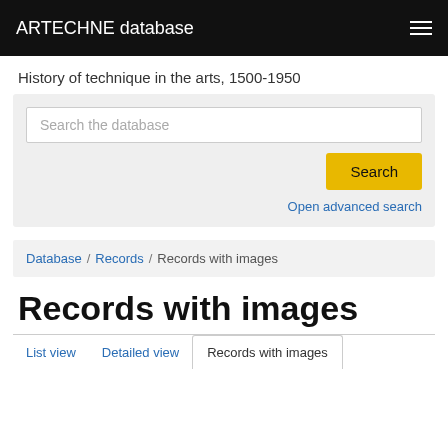ARTECHNE database
History of technique in the arts, 1500-1950
Search the database
Search
Open advanced search
Database / Records / Records with images
Records with images
List view  Detailed view  Records with images